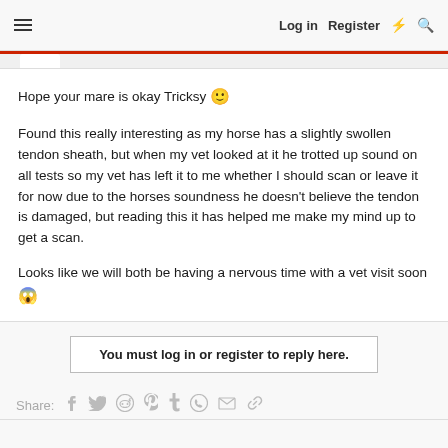≡  Log in  Register  ⚡  🔍
Hope your mare is okay Tricksy 🙂

Found this really interesting as my horse has a slightly swollen tendon sheath, but when my vet looked at it he trotted up sound on all tests so my vet has left it to me whether I should scan or leave it for now due to the horses soundness he doesn't believe the tendon is damaged, but reading this it has helped me make my mind up to get a scan.

Looks like we will both be having a nervous time with a vet visit soon 😱
You must log in or register to reply here.
Share: